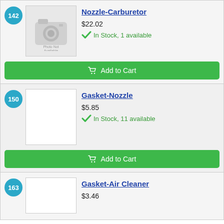142
[Figure (photo): Photo Not Available placeholder image with camera icon]
Nozzle-Carburetor
$22.02
In Stock, 1 available
Add to Cart
150
[Figure (photo): Empty white product image placeholder]
Gasket-Nozzle
$5.85
In Stock, 11 available
Add to Cart
163
[Figure (photo): Empty white product image placeholder]
Gasket-Air Cleaner
$3.46